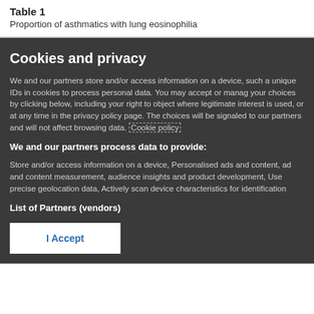Table 1
Proportion of asthmatics with lung eosinophilia
Cookies and privacy
We and our partners store and/or access information on a device, such as unique IDs in cookies to process personal data. You may accept or manage your choices by clicking below, including your right to object where legitimate interest is used, or at any time in the privacy policy page. These choices will be signaled to our partners and will not affect browsing data. Cookie policy
We and our partners process data to provide:
Store and/or access information on a device, Personalised ads and content, ad and content measurement, audience insights and product development, Use precise geolocation data, Actively scan device characteristics for identification
List of Partners (vendors)
I Accept